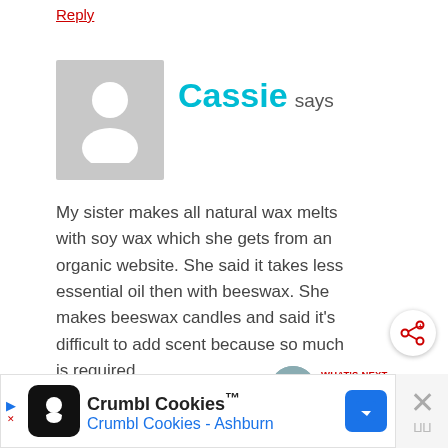Reply
[Figure (illustration): Generic user avatar: grey square with white silhouette of a person (head circle and shoulders)]
Cassie says
My sister makes all natural wax melts with soy wax which she gets from an organic website. She said it takes less essential oil then with beeswax. She makes beeswax candles and said it's difficult to add scent because so much is required.
Reply
[Figure (infographic): Advertisement banner: Crumbl Cookies with logo, subtext 'Crumbl Cookies - Ashburn', navigation arrow icon, and close button]
[Figure (infographic): Share button (circular white button with share icon) and 'What's Next' sidebar showing 'DIY Laundry Soap {Fels-...' with thumbnail]